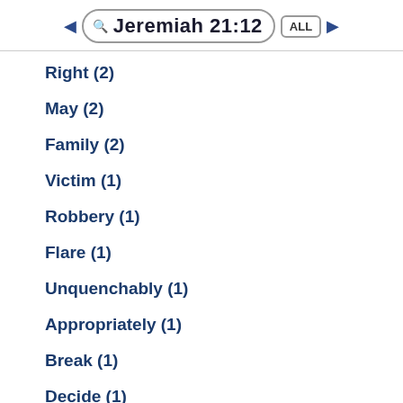Jeremiah 21:12
Right (2)
May (2)
Family (2)
Victim (1)
Robbery (1)
Flare (1)
Unquenchably (1)
Appropriately (1)
Break (1)
Decide (1)
Plundered (1)
Burned (1)